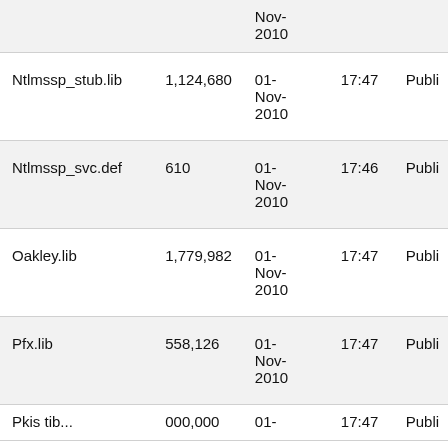| Name | Size | Date | Time | Access |
| --- | --- | --- | --- | --- |
|  |  | Nov-2010 |  | Publi |
| Ntlmssp_stub.lib | 1,124,680 | 01-Nov-2010 | 17:47 | Publi |
| Ntlmssp_svc.def | 610 | 01-Nov-2010 | 17:46 | Publi |
| Oakley.lib | 1,779,982 | 01-Nov-2010 | 17:47 | Publi |
| Pfx.lib | 558,126 | 01-Nov-2010 | 17:47 | Publi |
| Pkistlib | 000,000 | 01- | 17:47 | Publi |